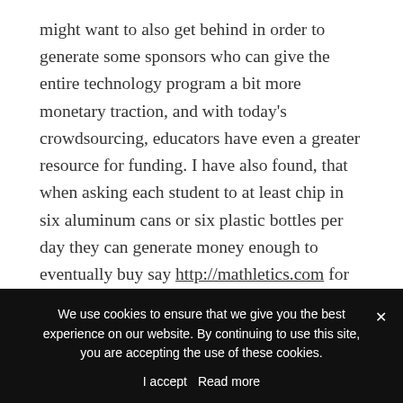might want to also get behind in order to generate some sponsors who can give the entire technology program a bit more monetary traction, and with today's crowdsourcing, educators have even a greater resource for funding. I have also found, that when asking each student to at least chip in six aluminum cans or six plastic bottles per day they can generate money enough to eventually buy say http://mathletics.com for the entire class to greatly improve their mathematics training.
Buying older models of laptops, in bulk, so that
We use cookies to ensure that we give you the best experience on our website. By continuing to use this site, you are accepting the use of these cookies.
I accept  Read more